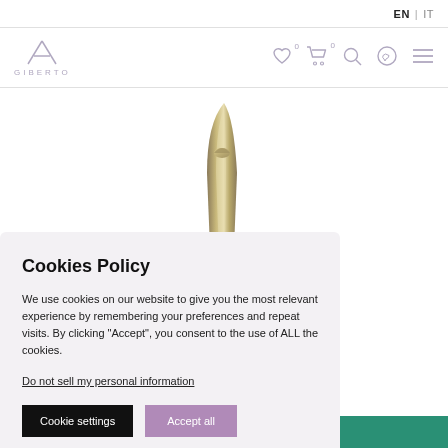EN | IT
[Figure (logo): Giberto brand logo with stylized A icon and GIBERTO text]
[Figure (photo): Metallic gold/silver sculptural candle holder or decorative object on white background]
Cookies Policy
We use cookies on our website to give you the most relevant experience by remembering your preferences and repeat visits. By clicking “Accept”, you consent to the use of ALL the cookies.
Do not sell my personal information
Cookie settings   Accept all